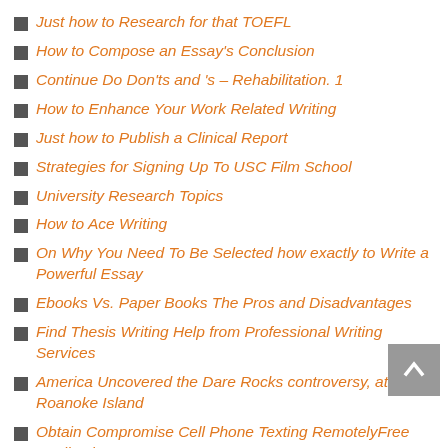Just how to Research for that TOEFL
How to Compose an Essay's Conclusion
Continue Do Don'ts and 's – Rehabilitation. 1
How to Enhance Your Work Related Writing
Just how to Publish a Clinical Report
Strategies for Signing Up To USC Film School
University Research Topics
How to Ace Writing
On Why You Need To Be Selected how exactly to Write a Powerful Essay
Ebooks Vs. Paper Books The Pros and Disadvantages
Find Thesis Writing Help from Professional Writing Services
America Uncovered the Dare Rocks controversy, at Roanoke Island
Obtain Compromise Cell Phone Texting RemotelyFree Application
The very first thing You Need To Know Before you begin A Company Using a Huge Income
The vital thing You Need To Know Prior to starting A